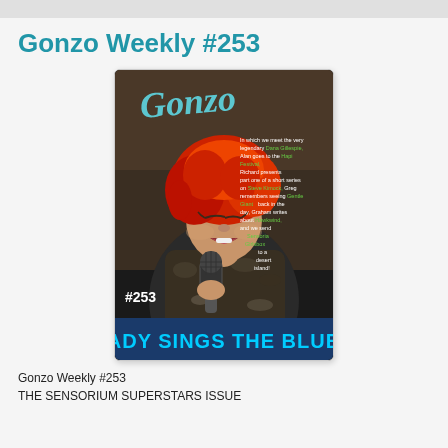Gonzo Weekly #253
[Figure (illustration): Magazine cover of Gonzo Weekly #253 titled 'LADY SINGS THE BLUES' featuring a woman with red hair singing into a microphone. The cover has the Gonzo logo at top and text describing contents including Dana Gillespie, Hapi Festival, Steve Kimock, Gentle Giant, Hawkwind, and Sensoria Girlsbox.]
Gonzo Weekly #253
THE SENSORIUM SUPERSTARS ISSUE